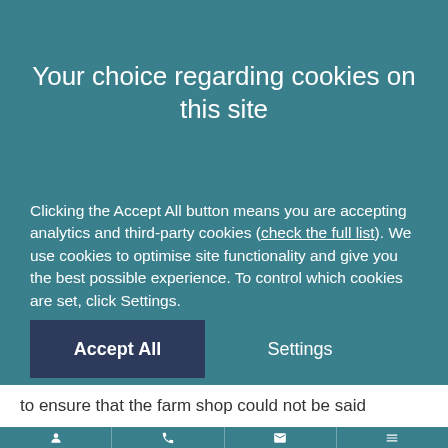Your choice regarding cookies on this site
Clicking the Accept All button means you are accepting analytics and third-party cookies (check the full list). We use cookies to optimise site functionality and give you the best possible experience. To control which cookies are set, click Settings.
to ensure that the farm shop could not be said